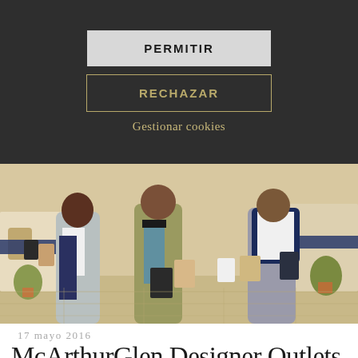PERMITIR
RECHAZAR
Gestionar cookies
[Figure (photo): Three people walking at a designer outlet shopping center, carrying shopping bags. Two women and one man walking together on a sunlit paved path between shops with blue awnings and potted plants.]
17 mayo 2016
McArthurGlen Designer Outlets